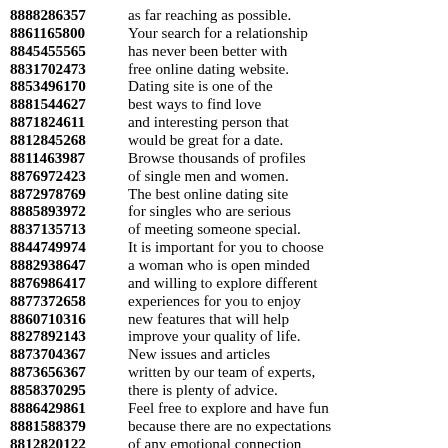8888286357 as far reaching as possible.
8861165800 Your search for a relationship
8845455565 has never been better with
8831702473 free online dating website.
8853496170 Dating site is one of the
8881544627 best ways to find love
8871824611 and interesting person that
8812845268 would be great for a date.
8811463987 Browse thousands of profiles
8876972423 of single men and women.
8872978769 The best online dating site
8885893972 for singles who are serious
8837135713 of meeting someone special.
8844749974 It is important for you to choose
8882938647 a woman who is open minded
8876986417 and willing to explore different
8877372658 experiences for you to enjoy
8860710316 new features that will help
8827892143 improve your quality of life.
8873704367 New issues and articles
8873656367 written by our team of experts,
8858370295 there is plenty of advice.
8886429861 Feel free to explore and have fun
8881588379 because there are no expectations
8812820122 of any emotional connection